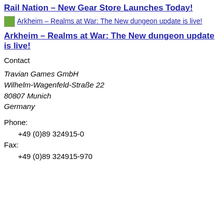Rail Nation – New Gear Store Launches Today!
[Figure (other): Small image icon placeholder for Arkheim – Realms at War: The New dungeon update is live!]
Arkheim – Realms at War: The New dungeon update is live!
Contact
Travian Games GmbH
Wilhelm-Wagenfeld-Straße 22
80807 Munich
Germany
Phone:
+49 (0)89 324915-0
Fax:
+49 (0)89 324915-970